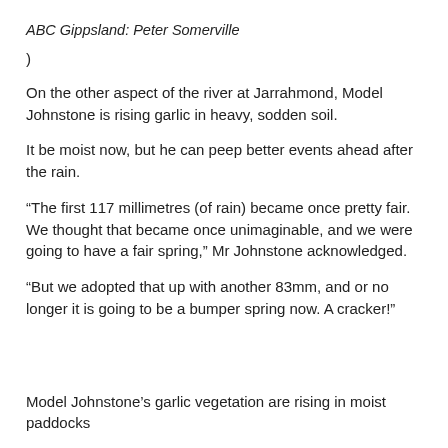ABC Gippsland: Peter Somerville
)
On the other aspect of the river at Jarrahmond, Model Johnstone is rising garlic in heavy, sodden soil.
It be moist now, but he can peep better events ahead after the rain.
“The first 117 millimetres (of rain) became once pretty fair. We thought that became once unimaginable, and we were going to have a fair spring,” Mr Johnstone acknowledged.
“But we adopted that up with another 83mm, and or no longer it is going to be a bumper spring now. A cracker!”
Model Johnstone’s garlic vegetation are rising in moist paddocks